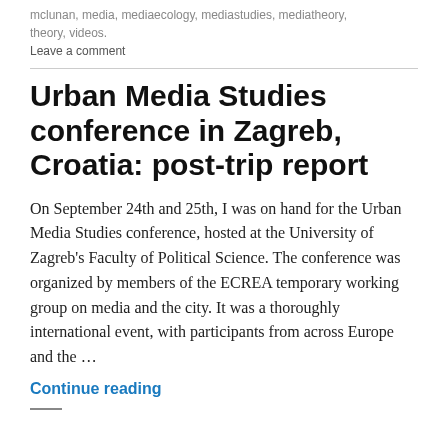mclunan, media, mediaecology, mediastudies, mediatheory, theory, videos.
Leave a comment
Urban Media Studies conference in Zagreb, Croatia: post-trip report
On September 24th and 25th, I was on hand for the Urban Media Studies conference, hosted at the University of Zagreb's Faculty of Political Science. The conference was organized by members of the ECREA temporary working group on media and the city. It was a thoroughly international event, with participants from across Europe and the …
Continue reading